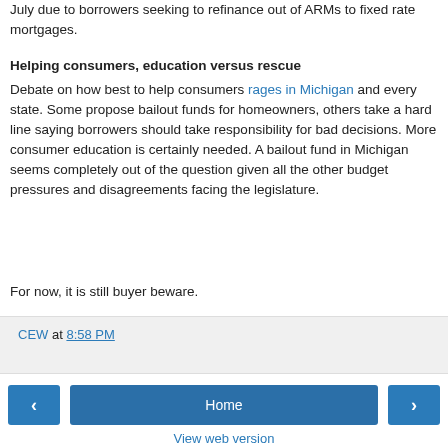July due to borrowers seeking to refinance out of ARMs to fixed rate mortgages.
Helping consumers, education versus rescue
Debate on how best to help consumers rages in Michigan and every state. Some propose bailout funds for homeowners, others take a hard line saying borrowers should take responsibility for bad decisions. More consumer education is certainly needed. A bailout fund in Michigan seems completely out of the question given all the other budget pressures and disagreements facing the legislature.
For now, it is still buyer beware.
CEW at 8:58 PM
Home
View web version